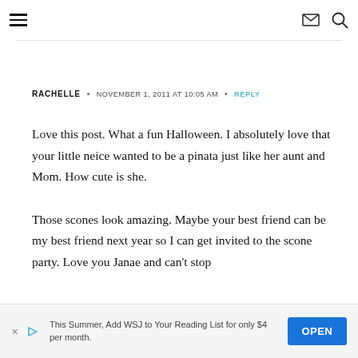Navigation header with hamburger menu, mail icon, and search icon
RACHELLE · NOVEMBER 1, 2011 AT 10:05 AM · REPLY
Love this post. What a fun Halloween. I absolutely love that your little neice wanted to be a pinata just like her aunt and Mom. How cute is she.

Those scones look amazing. Maybe your best friend can be my best friend next year so I can get invited to the scone party. Love you Janae and can't stop
This Summer, Add WSJ to Your Reading List for only $4 per month.